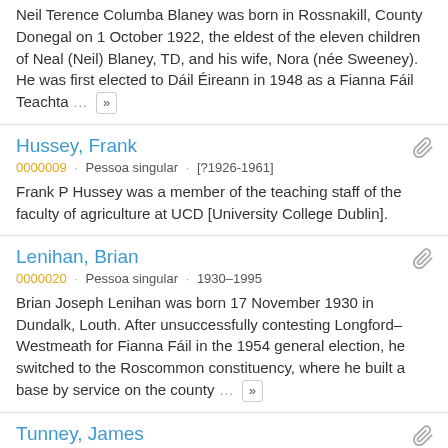Neil Terence Columba Blaney was born in Rossnakill, County Donegal on 1 October 1922, the eldest of the eleven children of Neal (Neil) Blaney, TD, and his wife, Nora (née Sweeney). He was first elected to Dáil Éireann in 1948 as a Fianna Fáil Teachta … »
Hussey, Frank
0000009 · Pessoa singular · [?1926-1961]
Frank P Hussey was a member of the teaching staff of the faculty of agriculture at UCD [University College Dublin].
Lenihan, Brian
0000020 · Pessoa singular · 1930–1995
Brian Joseph Lenihan was born 17 November 1930 in Dundalk, Louth. After unsuccessfully contesting Longford–Westmeath for Fianna Fáil in the 1954 general election, he switched to the Roscommon constituency, where he built a base by service on the county … »
Tunney, James
0000031 · Pessoa singular · 1924-2002
James "Jim" Tunney, politician, was born 25 December 1924 in